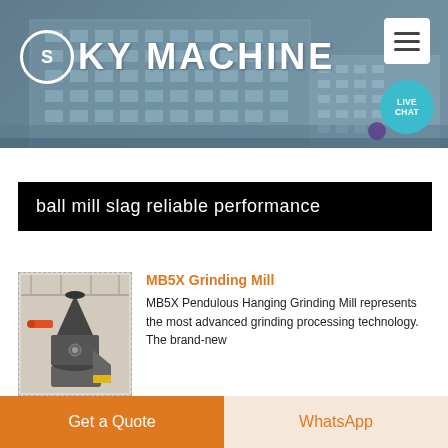[Figure (photo): Sky Machine company header banner with building photo background, company logo with S in circle, and LIVE CHAT bubble]
ball mill slag reliable performance
[Figure (photo): MB5X grinding mill machine product photo with industrial equipment in factory setting]
MB5X Grinding Mill
MB5X Pendulous Hanging Grinding Mill represents the most advanced grinding processing technology. The brand-new